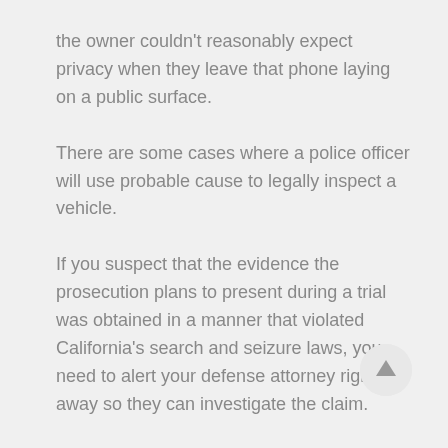the owner couldn't reasonably expect privacy when they leave that phone laying on a public surface.
There are some cases where a police officer will use probable cause to legally inspect a vehicle.
If you suspect that the evidence the prosecution plans to present during a trial was obtained in a manner that violated California's search and seizure laws, you need to alert your defense attorney right away so they can investigate the claim.